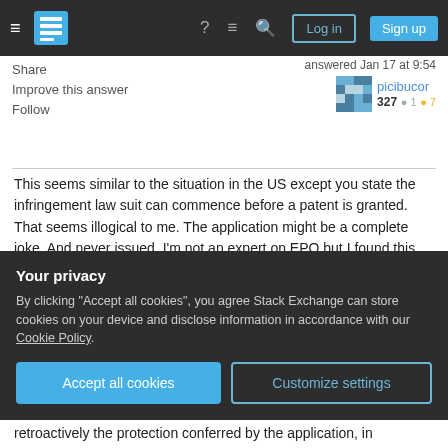Stack Exchange navigation bar with Log in and Sign up buttons
Share
Improve this answer
Follow
answered Jan 17 at 9:54
picibucor 327 ●1 ●7
This seems similar to the situation in the US except you state the infringement law suit can commence before a patent is granted. That seems illogical to me. The application might be a complete joke. And never issued. I'm not an expert on EPO but I found this on a German patent attorney's web site - " However, please mind that the scope of protection of the published application will be determined retrospectively (ex post facto) by the scope of the granted patent or amended patent after opposition, respectively (Art. 69 (2) EPÜ)."
Your privacy
By clicking "Accept all cookies", you agree Stack Exchange can store cookies on your device and disclose information in accordance with our Cookie Policy.
Accept all cookies
Customize settings
retroactively the protection conferred by the application, in